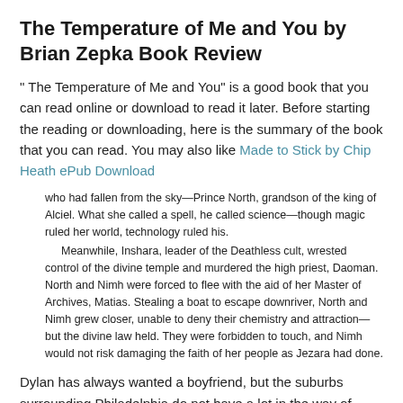The Temperature of Me and You by Brian Zepka Book Review
" The Temperature of Me and You" is a good book that you can read online or download to read it later. Before starting the reading or downloading, here is the summary of the book that you can read. You may also like Made to Stick by Chip Heath ePub Download
who had fallen from the sky—Prince North, grandson of the king of Alciel. What she called a spell, he called science—though magic ruled her world, technology ruled his.
    Meanwhile, Inshara, leader of the Deathless cult, wrested control of the divine temple and murdered the high priest, Daoman. North and Nimh were forced to flee with the aid of her Master of Archives, Matias. Stealing a boat to escape downriver, North and Nimh grew closer, unable to deny their chemistry and attraction—but the divine law held. They were forbidden to touch, and Nimh would not risk damaging the faith of her people as Jezara had done.
Dylan has always wanted a boyfriend, but the suburbs surrounding Philadelphia do not have a lot in the way of options. Then, in walks Jordan, a completely normal (and